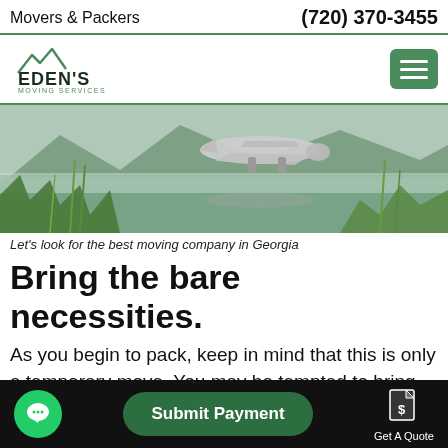Movers & Packers   (720) 370-3455
[Figure (logo): Eden's Moving Services logo with mountain graphic]
[Figure (photo): A large aircraft flying low over a misty lake with green vegetation in the foreground and mountains in the background]
Let's look for the best moving company in Georgia
Bring the bare necessities.
As you begin to pack, keep in mind that this is only a temporary move. You may be tempted to bring all of your belongings to make you feel
Submit Payment   Get A Quote